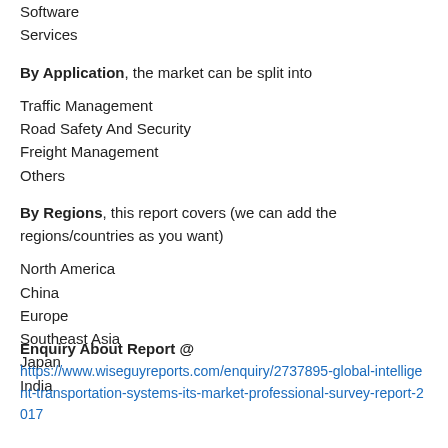Software
Services
By Application, the market can be split into
Traffic Management
Road Safety And Security
Freight Management
Others
By Regions, this report covers (we can add the regions/countries as you want)
North America
China
Europe
Southeast Asia
Japan
India
Enquiry About Report @
https://www.wiseguyreports.com/enquiry/2737895-global-intelligent-transportation-systems-its-market-professional-survey-report-2017